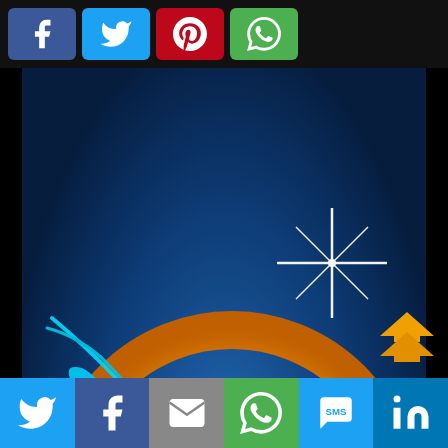[Figure (illustration): Social media share buttons bar at top: Facebook, Twitter, Pinterest, WhatsApp]
[Figure (illustration): Cancer zodiac sign illustration: stylized blue crab/lobster on deep blue textured background with golden circular ring and sparkle star effect]
[Figure (illustration): Bottom social sharing bar with Twitter, Facebook, Email, WhatsApp, SMS, LinkedIn buttons]